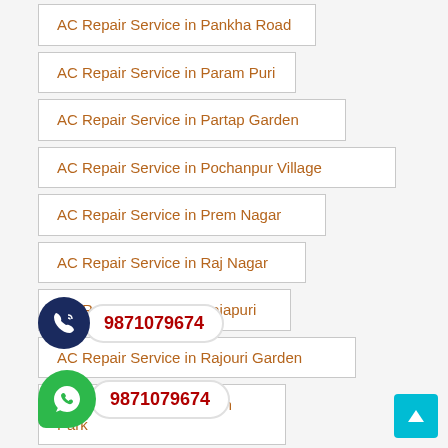AC Repair Service in Pankha Road
AC Repair Service in Param Puri
AC Repair Service in Partap Garden
AC Repair Service in Pochanpur Village
AC Repair Service in Prem Nagar
AC Repair Service in Raj Nagar
AC Repair Service in Rajapuri
AC Repair Service in Rajouri Garden
AC Repair Service in Ram Park
AC Repair Service in Ranaji Enclave
AC Repair Service in Roshanpura Najafgarh
AC Repair Service in Sadh Nagar